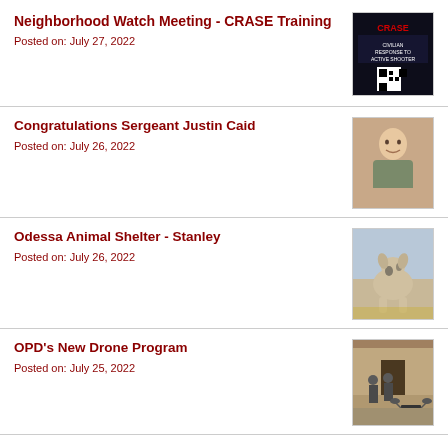Neighborhood Watch Meeting - CRASE Training
Posted on: July 27, 2022
[Figure (photo): CRASE training flyer with dark background and QR code]
Congratulations Sergeant Justin Caid
Posted on: July 26, 2022
[Figure (photo): Photo of Sergeant Justin Caid smiling outdoors]
Odessa Animal Shelter - Stanley
Posted on: July 26, 2022
[Figure (photo): Photo of a dog named Stanley at animal shelter]
OPD's New Drone Program
Posted on: July 25, 2022
[Figure (photo): Photo of drone program demonstration indoors]
Odessa Animal Shelter - Topy
Posted on: July 25, 2022
[Figure (photo): Partial photo of animal named Topy, partially obscured by Select Language overlay]